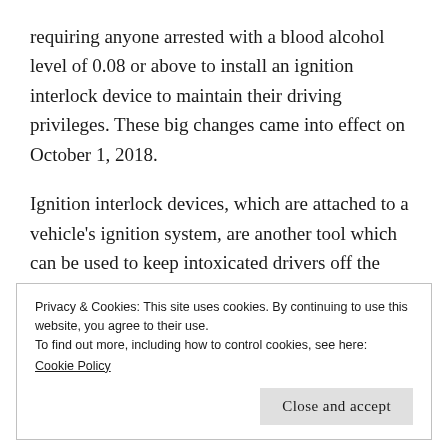requiring anyone arrested with a blood alcohol level of 0.08 or above to install an ignition interlock device to maintain their driving privileges. These big changes came into effect on October 1, 2018.
Ignition interlock devices, which are attached to a vehicle's ignition system, are another tool which can be used to keep intoxicated drivers off the road. Before a driver can start their car, they must breathe into a breathalyzer device. If alcohol is detected on their breath, the car will not start. Additionally, ignition
Privacy & Cookies: This site uses cookies. By continuing to use this website, you agree to their use.
To find out more, including how to control cookies, see here:
Cookie Policy
Close and accept